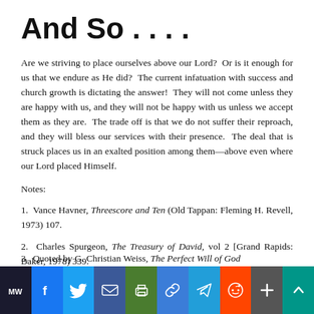And So . . . .
Are we striving to place ourselves above our Lord?  Or is it enough for us that we endure as He did?  The current infatuation with success and church growth is dictating the answer!  They will not come unless they are happy with us, and they will not be happy with us unless we accept them as they are.  The trade off is that we do not suffer their reproach, and they will bless our services with their presence.  The deal that is struck places us in an exalted position among them—above even where our Lord placed Himself.
Notes:
1.  Vance Havner, Threescore and Ten (Old Tappan: Fleming H. Revell, 1973) 107.
2.  Charles Spurgeon, The Treasury of David, vol 2 [Grand Rapids: Baker, 1978) 339.
3.  Quoted by G. Christian Weiss, The Perfect Will of God